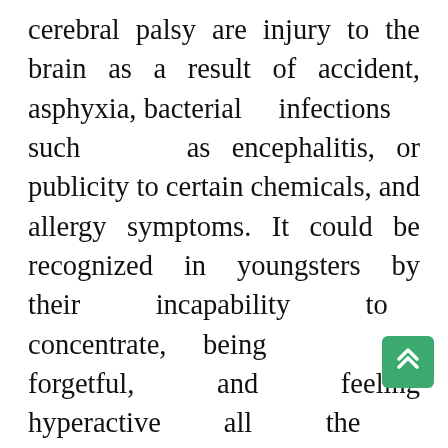cerebral palsy are injury to the brain as a result of accident, asphyxia, bacterial infections such as encephalitis, or publicity to certain chemicals, and allergy symptoms. It could be recognized in youngsters by their incapability to concentrate, being forgetful, and feeling hyperactive all the time. Development disabilities can be outlined as chronic conditions that originate in childhood, through the